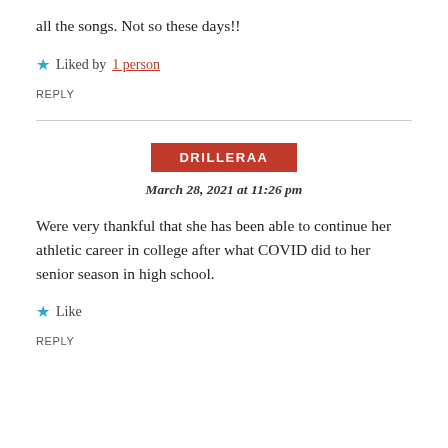all the songs. Not so these days!!
★ Liked by 1 person
REPLY
DRILLERAA
March 28, 2021 at 11:26 pm
Were very thankful that she has been able to continue her athletic career in college after what COVID did to her senior season in high school.
★ Like
REPLY